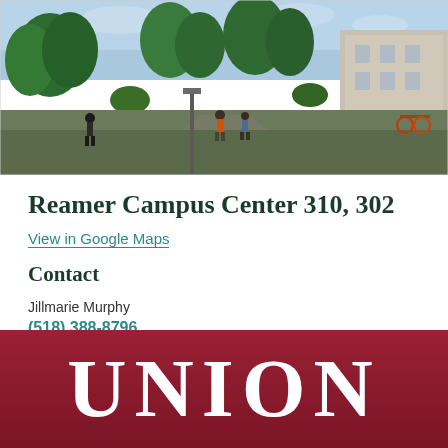[Figure (photo): Outdoor campus scene showing students walking on a path surrounded by trees and a building in the background]
Reamer Campus Center 310, 302
View in Google Maps
Contact
Jillmarie Murphy
(518) 388-8796
gswsdir@union.edu
UNION